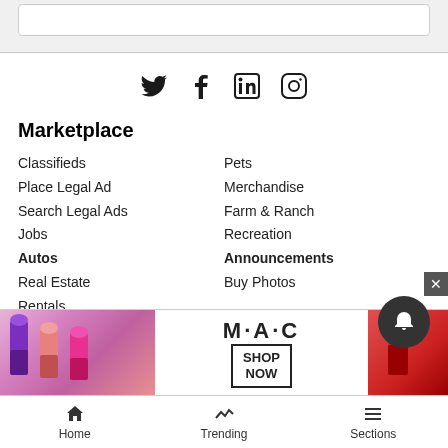[Figure (other): Gray header bar with white search/input box]
[Figure (other): Social media icons row: Twitter, Facebook, LinkedIn, Instagram]
Marketplace
Classifieds
Place Legal Ad
Search Legal Ads
Jobs
Autos
Real Estate
Rentals
Service Directory
Pets
Merchandise
Farm & Ranch
Recreation
Announcements
Buy Photos
Reader
Contact
Submiss
[Figure (other): MAC cosmetics advertisement banner with lipstick images and SHOP NOW button]
Home   Trending   Sections